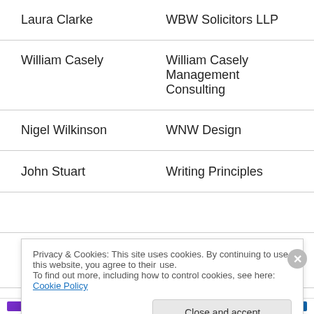| Name | Organisation |
| --- | --- |
| Laura Clarke | WBW Solicitors LLP |
| William Casely | William Casely Management Consulting |
| Nigel Wilkinson | WNW Design |
| John Stuart | Writing Principles |
|  |  |
| Chris Elliott | Lloyds TSB Commercial |
Privacy & Cookies: This site uses cookies. By continuing to use this website, you agree to their use. To find out more, including how to control cookies, see here: Cookie Policy
Close and accept